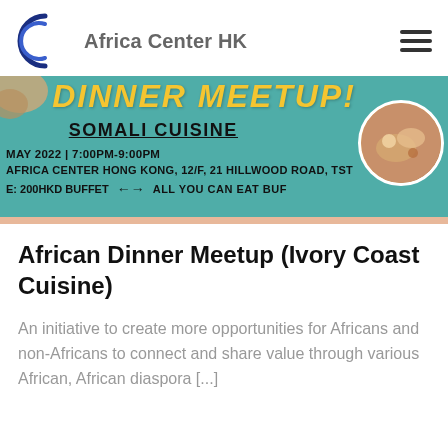Africa Center HK
[Figure (photo): Banner for African Dinner Meetup featuring Somali Cuisine event. Teal background with text: DINNER MEETUP! SOMALI CUISINE. MAY 2022 | 7:00PM-9:00PM. AFRICA CENTER HONG KONG, 12/F, 21 HILLWOOD ROAD, TST. E: 200HKD BUFFET ←→ ALL YOU CAN EAT BUFFET. Circular food photo on right side.]
African Dinner Meetup (Ivory Coast Cuisine)
An initiative to create more opportunities for Africans and non-Africans to connect and share value through various African, African diaspora [...]